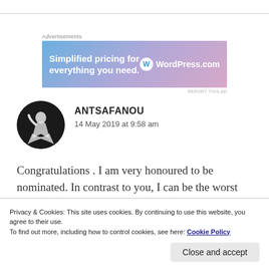[Figure (illustration): WordPress.com advertisement banner with gradient blue-pink background. Text reads 'Simplified pricing for everything you need.' with WordPress.com logo on the right.]
[Figure (photo): Circular avatar photo of a person in a white dress dancing, black and white photo on dark background.]
ANTSAFANOU
14 May 2019 at 9:58 am
Congratulations . I am very honoured to be nominated. In contrast to you, I can be the worst dance company ever ha3
Privacy & Cookies: This site uses cookies. By continuing to use this website, you agree to their use.
To find out more, including how to control cookies, see here: Cookie Policy